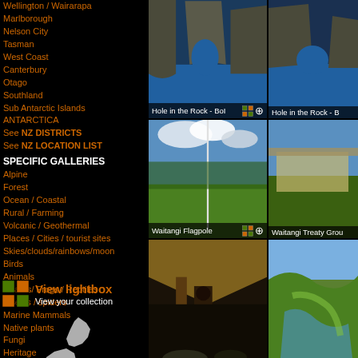Wellington / Wairarapa
Marlborough
Nelson City
Tasman
West Coast
Canterbury
Otago
Southland
Sub Antarctic Islands
ANTARCTICA
See NZ DISTRICTS
See NZ LOCATION LIST
SPECIFIC GALLERIES
Alpine
Forest
Ocean / Coastal
Rural / Farming
Volcanic / Geothermal
Places / Cities / tourist sites
Skies/clouds/rainbows/moon
Birds
Animals
Lizards/ Frogs / Reptiles
Insects / spiders
Marine Mammals
Native plants
Fungi
Heritage
Recreation
Environmental
Traffic / roads / cars
View lightbox
View your collection
[Figure (photo): Hole in the Rock - BoI (Bay of Islands), sea arch with blue water]
Hole in the Rock - BoI
[Figure (photo): Hole in the Rock - B (partially visible, right column)]
Hole in the Rock - B
[Figure (photo): Waitangi Flagpole - tall flagpole in green field with clouds]
Waitangi Flagpole
[Figure (photo): Waitangi Treaty Grou (partially visible, right column)]
Waitangi Treaty Grou
[Figure (photo): Maori meeting house / carved interior with figures]
[Figure (photo): Aerial landscape/golf course (partially visible, right column)]